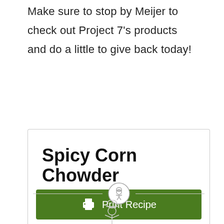Make sure to stop by Meijer to check out Project 7's products and do a little to give back today!
Spicy Corn Chowder
[Figure (illustration): Green 'Print Recipe' button with a printer icon]
[Figure (illustration): Decorative divider with a chef/cook icon in a circle in the center, with horizontal lines on each side]